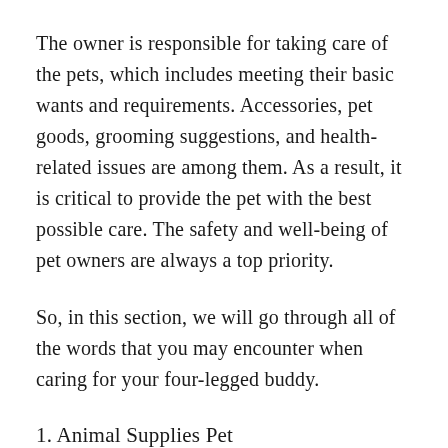The owner is responsible for taking care of the pets, which includes meeting their basic wants and requirements. Accessories, pet goods, grooming suggestions, and health-related issues are among them. As a result, it is critical to provide the pet with the best possible care. The safety and well-being of pet owners are always a top priority.
So, in this section, we will go through all of the words that you may encounter when caring for your four-legged buddy.
1. Animal Supplies Pet
supplies are essential for every pet, whether little or large. They must have food, bowls and